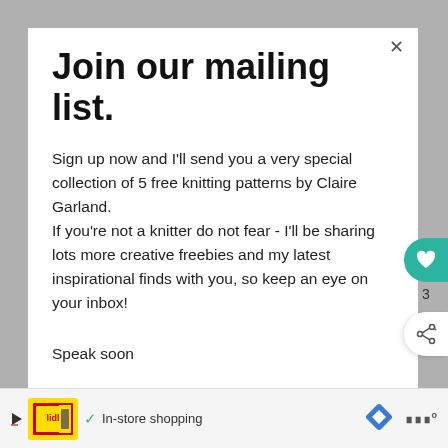Join our mailing list.
Sign up now and I'll send you a very special collection of 5 free knitting patterns by Claire Garland.
If you're not a knitter do not fear - I'll be sharing lots more creative freebies and my latest inspirational finds with you, so keep an eye on your inbox!
Speak soon
Laura X
[Figure (screenshot): Ad bar at bottom with Lidl-style logo, play button, checkmark, In-store shopping text, navigation arrow icon, and bar chart icon]